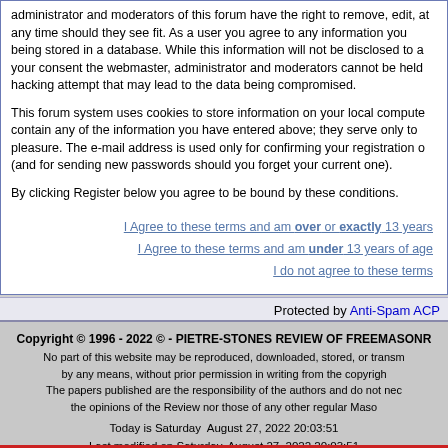administrator and moderators of this forum have the right to remove, edit, at any time should they see fit. As a user you agree to any information you being stored in a database. While this information will not be disclosed to a your consent the webmaster, administrator and moderators cannot be held hacking attempt that may lead to the data being compromised.
This forum system uses cookies to store information on your local computer. contain any of the information you have entered above; they serve only to pleasure. The e-mail address is used only for confirming your registration (and for sending new passwords should you forget your current one).
By clicking Register below you agree to be bound by these conditions.
I Agree to these terms and am over or exactly 13 years
I Agree to these terms and am under 13 years of age
I do not agree to these terms
Protected by Anti-Spam ACP
Copyright © 1996 - 2022 © - PIETRE-STONES REVIEW OF FREEMASONRY
No part of this website may be reproduced, downloaded, stored, or transmitted by any means, without prior permission in writing from the copyright holder.
The papers published are the responsibility of the authors and do not necessarily reflect the opinions of the Review nor those of any other regular Masonic body.
Today is Saturday August 27, 2022 20:03:51
Last modified on Saturday, August 27, 2022 20:03:51
Website optimized for Microsoft Explorer 6.0+. Best view with a screen resolution of 8
visitors currently on the site.
518 visitors today (GMT+1)
Powered by phpBB © phoBB Group
Design by phpBBStyles.com | Styles Database